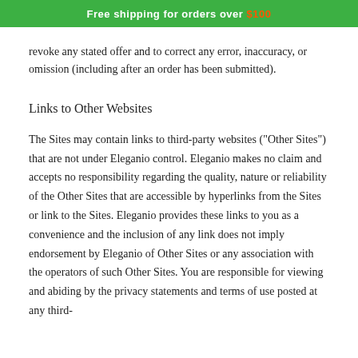Free shipping for orders over $100
revoke any stated offer and to correct any error, inaccuracy, or omission (including after an order has been submitted).
Links to Other Websites
The Sites may contain links to third-party websites ("Other Sites") that are not under Eleganio control. Eleganio makes no claim and accepts no responsibility regarding the quality, nature or reliability of the Other Sites that are accessible by hyperlinks from the Sites or link to the Sites. Eleganio provides these links to you as a convenience and the inclusion of any link does not imply endorsement by Eleganio of Other Sites or any association with the operators of such Other Sites. You are responsible for viewing and abiding by the privacy statements and terms of use posted at any third-